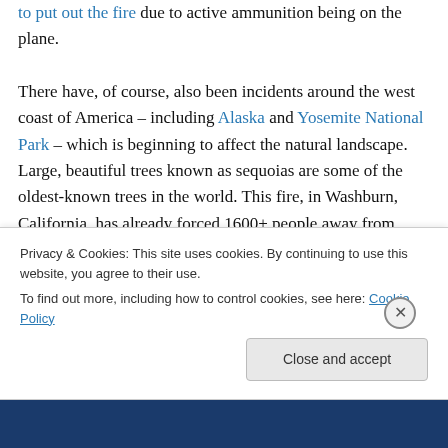to put out the fire due to active ammunition being on the plane.

There have, of course, also been incidents around the west coast of America – including Alaska and Yosemite National Park – which is beginning to affect the natural landscape. Large, beautiful trees known as sequoias are some of the oldest-known trees in the world. This fire, in Washburn, California, has already forced 1600+ people away from their homes, and has the potential to be even more devastating. According to the BBC, over 35,000 fires have been reported across the US this year alone.
Privacy & Cookies: This site uses cookies. By continuing to use this website, you agree to their use.
To find out more, including how to control cookies, see here: Cookie Policy